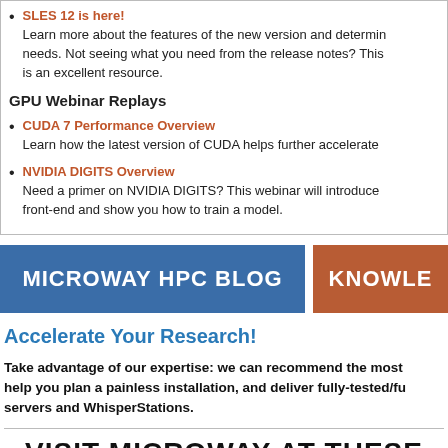SLES 12 is here! Learn more about the features of the new version and determine if it meets your needs. Not seeing what you need from the release notes? This is an excellent resource.
GPU Webinar Replays
CUDA 7 Performance Overview Learn how the latest version of CUDA helps further accelerate
NVIDIA DIGITS Overview Need a primer on NVIDIA DIGITS? This webinar will introduce front-end and show you how to train a model.
[Figure (other): Two navigation buttons: MICROWAY HPC BLOG (blue) and KNOWLE... (brown/orange)]
Accelerate Your Research!
Take advantage of our expertise: we can recommend the most help you plan a painless installation, and deliver fully-tested/fu servers and WhisperStations.
VISIT MICROWAY AT THESE